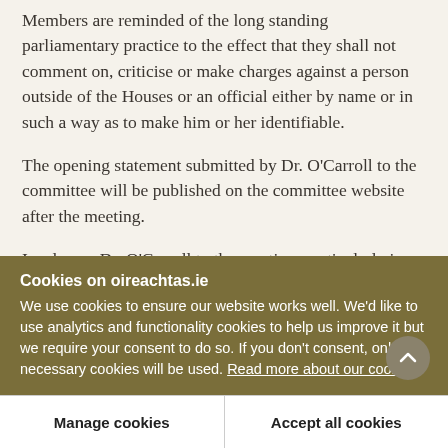Members are reminded of the long standing parliamentary practice to the effect that they shall not comment on, criticise or make charges against a person outside of the Houses or an official either by name or in such a way as to make him or her identifiable.
The opening statement submitted by Dr. O'Carroll to the committee will be published on the committee website after the meeting.
I welcome Dr. O'Carroll to the meeting, particularly in
Cookies on oireachtas.ie
We use cookies to ensure our website works well. We'd like to use analytics and functionality cookies to help us improve it but we require your consent to do so. If you don't consent, only necessary cookies will be used. Read more about our cookies
Manage cookies
Accept all cookies